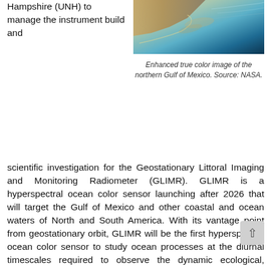Hampshire (UNH) to manage the instrument build and
[Figure (photo): Enhanced true color satellite image of the northern Gulf of Mexico, showing coastline with sandy/brown land on the left, turquoise-green shallow water, and deep blue ocean. Source: NASA.]
Enhanced true color image of the northern Gulf of Mexico. Source: NASA.
scientific investigation for the Geostationary Littoral Imaging and Monitoring Radiometer (GLIMR). GLIMR is a hyperspectral ocean color sensor launching after 2026 that will target the Gulf of Mexico and other coastal and ocean waters of North and South America. With its vantage point from geostationary orbit, GLIMR will be the first hyperspectral ocean color sensor to study ocean processes at the diurnal timescales required to observe the dynamic ecological, biogeochemical and physical processes typical of coastal and ocean waters. GLIMR is uniquely designed to capture the spatio-temporal evolution of phytoplankton blooms (time scales of hours to days); monitor phytoplankton physiology, growth rates and shifts in community composition; resolve coastal features, fronts, eddies and upwelling features; and monitor biogeochemical fluxes and land-ocean exchanges at sub-diurnal to multi-day scales. GLIMR will improve